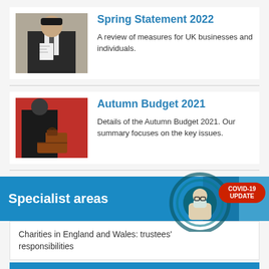Spring Statement 2022
A review of measures for UK businesses and individuals.
[Figure (photo): Person in suit reviewing documents at a desk]
Autumn Budget 2021
Details of the Autumn Budget 2021. Our summary focuses on the key issues.
[Figure (photo): Person in suit holding a red briefcase against a red background]
Specialist areas
[Figure (illustration): Illustrated person with mask and circular graphic, COVID-19 UPDATE badge]
Charities in England and Wales: trustees' responsibilities
Charities in Scotland: trustees' responsibilities